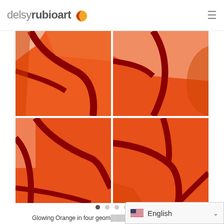delsyrubioart (logo with icon)
[Figure (photo): Four-panel grid of abstract orange geometric art with dark red curved lines on orange background panels, arranged 2x2]
● ○ ○ ○ (carousel dots)
Glowing Orange in four geom... ...ate or Aluminum | 2...
English (language selector with flag)